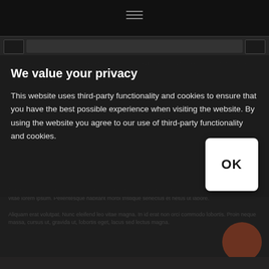[Figure (screenshot): Dark website background with navigation bar and hamburger menu icon at top]
We value your privacy
This website uses third-party functionality and cookies to ensure that you have the best possible experience when visiting the website. By using the website you agree to our use of third-party functionality and cookies.
[Figure (other): OK button (white rounded rectangle) for accepting cookie consent]
[Figure (other): Brown circular chat/support button in bottom right corner]